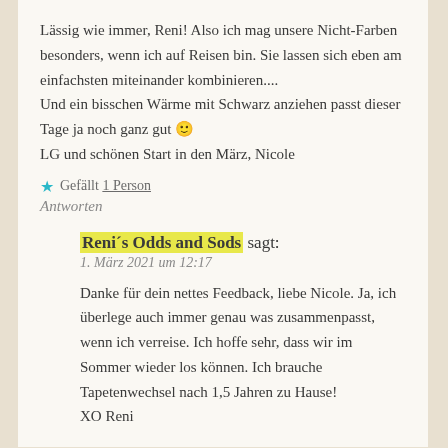Lässig wie immer, Reni! Also ich mag unsere Nicht-Farben besonders, wenn ich auf Reisen bin. Sie lassen sich eben am einfachsten miteinander kombinieren....
Und ein bisschen Wärme mit Schwarz anziehen passt dieser Tage ja noch ganz gut 🙂
LG und schönen Start in den März, Nicole
★ Gefällt 1 Person
Antworten
Reni´s Odds and Sods sagt:
1. März 2021 um 12:17
Danke für dein nettes Feedback, liebe Nicole. Ja, ich überlege auch immer genau was zusammenpasst, wenn ich verreise. Ich hoffe sehr, dass wir im Sommer wieder los können. Ich brauche Tapetenwechsel nach 1,5 Jahren zu Hause!
XO Reni